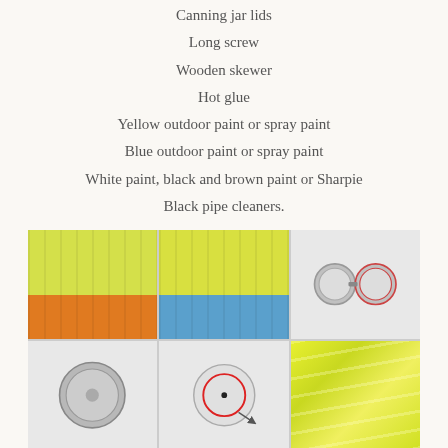Canning jar lids
Long screw
Wooden skewer
Hot glue
Yellow outdoor paint or spray paint
Blue outdoor paint or spray paint
White paint, black and brown paint or Sharpie
Black pipe cleaners.
[Figure (photo): Six-panel photo grid showing steps of a craft project: (1) yellow and orange painted pumpkin, (2) yellow and blue painted pumpkin, (3) canning jar lids and a screw on white background, (4) underside of a jar lid, (5) jar lid with red circle and dot indicating drilling point, (6) close-up of yellow painted pumpkin surface texture.]